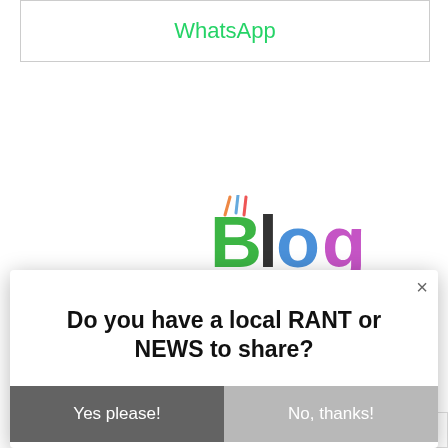[Figure (screenshot): WhatsApp share button bar at top of webpage]
[Figure (screenshot): Colorful Blog logo graphic partially visible in background]
[Figure (screenshot): Modal dialog popup with close button (×), bold question text 'Do you have a local RANT or NEWS to share?', and two buttons: 'Yes please!' (dark grey) and 'No, thanks!' (light grey)]